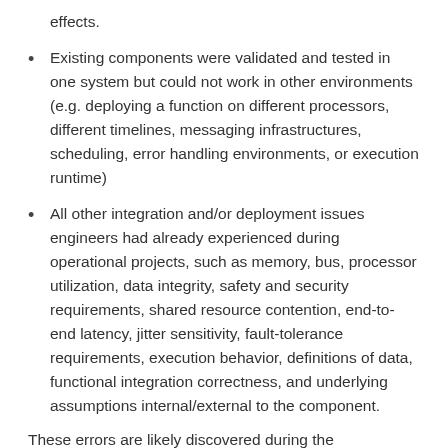effects.
Existing components were validated and tested in one system but could not work in other environments (e.g. deploying a function on different processors, different timelines, messaging infrastructures, scheduling, error handling environments, or execution runtime)
All other integration and/or deployment issues engineers had already experienced during operational projects, such as memory, bus, processor utilization, data integrity, safety and security requirements, shared resource contention, end-to-end latency, jitter sensitivity, fault-tolerance requirements, execution behavior, definitions of data, functional integration correctness, and underlying assumptions internal/external to the component.
These errors are likely discovered during the